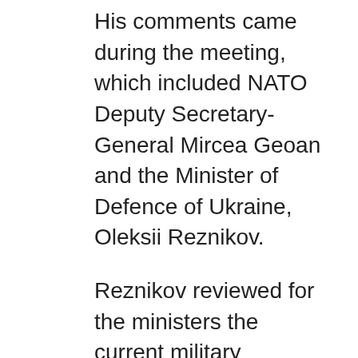His comments came during the meeting, which included NATO Deputy Secretary-General Mircea Geoan and the Minister of Defence of Ukraine, Oleksii Reznikov.
Reznikov reviewed for the ministers the current military situation on the ground in Ukraine. He also presented a list of the military requirements for the Ukrainian army, which the EU has consistently supported.
Borrell noted that the arms provided by the EU were making a difference on the battlefield, and urged EU countries to continue replenishing Ukrainian